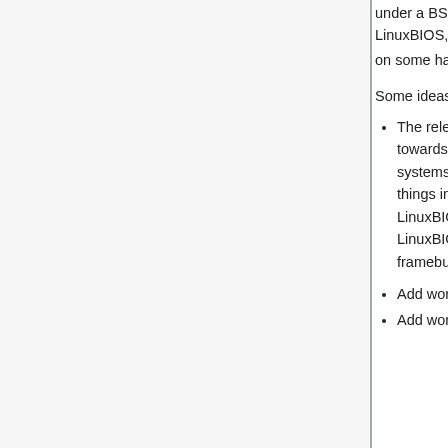under a BSD license. The released code does work in LinuxBIOS, but could use some proper integration and testing on some hardware or in Qemu.
Some ideas:
The released Open Firmware code is very much optimized towards the OLPC. A lot of things don't work yet on other systems, such as using a graphical framebuffer. Therefore things in LinuxBIOS need to be changed. For example, if LinuxBIOS initializes a graphics mode, it should add a LinuxBIOS table entry that specifies the address of the framebuffer and the depth and resolution.
Add words to view the LinuxBIOS table in OFW
Add words to change LinuxBIOS...